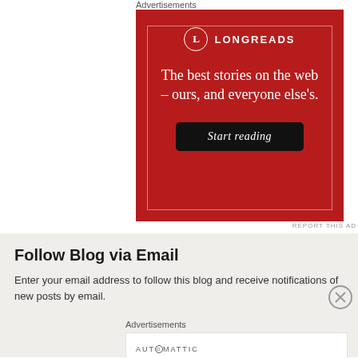Advertisements
[Figure (logo): Longreads advertisement with red background. Logo: circle with 'L' and 'LONGREADS' text. Tagline: 'The best stories on the web – ours, and everyone else's.' Button: 'Start reading']
REPORT THIS AD
Follow Blog via Email
Enter your email address to follow this blog and receive notifications of new posts by email.
Advertisements
[Figure (logo): Automattic advertisement. Logo: 'AUTOMATTIC' in uppercase with circle-O. Tagline: 'Build a better web and a better world.']